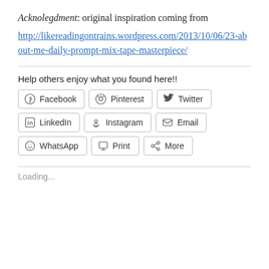Acknolegdment: original inspiration coming from http://likereadingontrains.wordpress.com/2013/10/06/23-about-me-daily-prompt-mix-tape-masterpiece/
Help others enjoy what you found here!!
[Figure (other): Social share buttons: Facebook, Pinterest, Twitter, LinkedIn, Instagram, Email, WhatsApp, Print, More]
Loading...